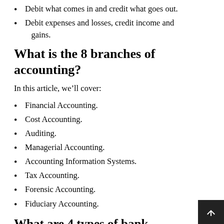Debit what comes in and credit what goes out.
Debit expenses and losses, credit income and gains.
What is the 8 branches of accounting?
In this article, we’ll cover:
Financial Accounting.
Cost Accounting.
Auditing.
Managerial Accounting.
Accounting Information Systems.
Tax Accounting.
Forensic Accounting.
Fiduciary Accounting.
What are 4 types of bank accounts?